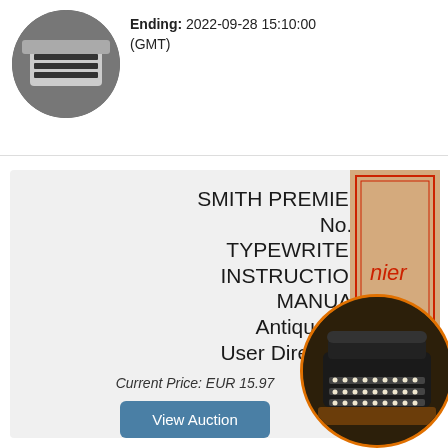Ending: 2022-09-28 15:10:00 (GMT)
[Figure (photo): Circular photo of a typewriter or keyboard device, top section]
SMITH PREMIER No.1 TYPEWRITER INSTRUCTION MANUAL Antique Vtg User Directions
Current Price: EUR 15.97
[Figure (photo): Photo of a vintage instruction manual booklet with red border lines and text 'nier iter']
[Figure (photo): Circular photo of an antique Smith Premier No.1 typewriter with wooden base]
View Auction